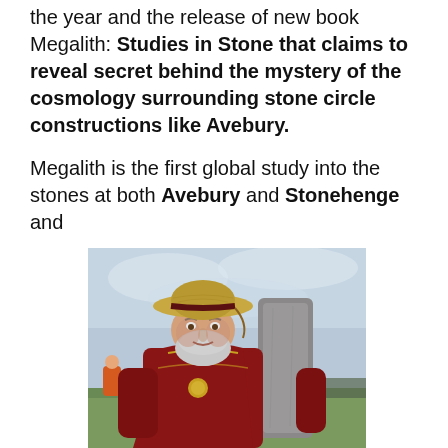the year and the release of new book Megalith: Studies in Stone that claims to reveal secret behind the mystery of the cosmology surrounding stone circle constructions like Avebury.
Megalith is the first global study into the stones at both Avebury and Stonehenge and
[Figure (photo): A bearded man wearing a wide-brimmed straw hat and a dark red velvet robe with gold embroidery and a gold medallion, standing in front of a large standing stone at what appears to be Stonehenge, with a crowd visible in the background on a cloudy day.]